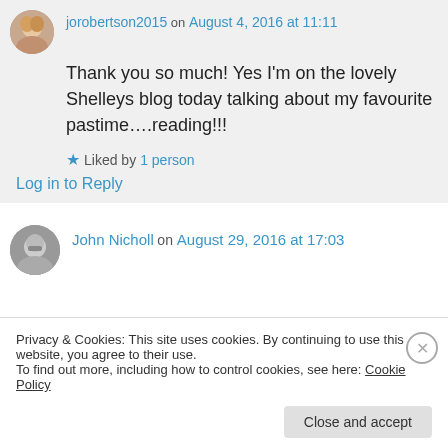jorobertson2015 on August 4, 2016 at 11:11
Thank you so much! Yes I'm on the lovely Shelleys blog today talking about my favourite pastime….reading!!!
Liked by 1 person
Log in to Reply
John Nicholl on August 29, 2016 at 17:03
Privacy & Cookies: This site uses cookies. By continuing to use this website, you agree to their use.
To find out more, including how to control cookies, see here: Cookie Policy
Close and accept